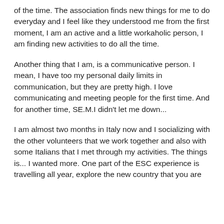of the time. The association finds new things for me to do everyday and I feel like they understood me from the first moment, I am an active and a little workaholic person, I am finding new activities to do all the time.
Another thing that I am, is a communicative person. I mean, I have too my personal daily limits in communication, but they are pretty high. I love communicating and meeting people for the first time. And for another time, SE.M.I didn't let me down...
I am almost two months in Italy now and I socializing with the other volunteers that we work together and also with some Italians that I met through my activities. The things is... I wanted more. One part of the ESC experience is travelling all year, explore the new country that you are